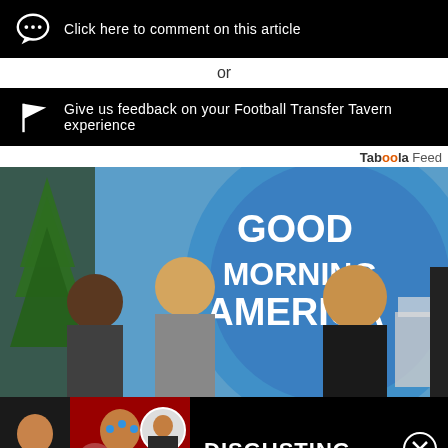Click here to comment on this article
or
Give us feedback on your Football Transfer Tavern experience
Taboola Feed
[Figure (photo): Good Morning America TV set with hosts and guests]
[Figure (screenshot): Video overlay: PLAYERS TURNY - TRANSFER & PLAYER SHAME with DISGUSTING text and close button]